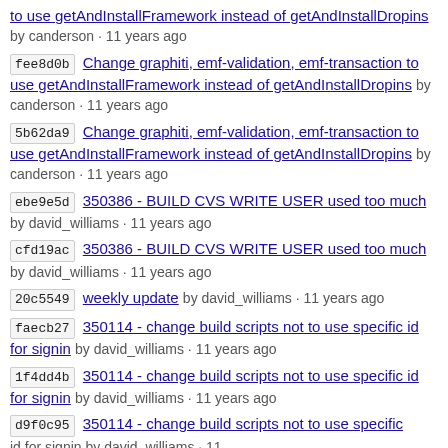to use getAndInstallFramework instead of getAndInstallDropins by canderson · 11 years ago
fee8d0b Change graphiti, emf-validation, emf-transaction to use getAndInstallFramework instead of getAndInstallDropins by canderson · 11 years ago
5b62da9 Change graphiti, emf-validation, emf-transaction to use getAndInstallFramework instead of getAndInstallDropins by canderson · 11 years ago
ebe9e5d 350386 - BUILD CVS WRITE USER used too much by david_williams · 11 years ago
cfd19ac 350386 - BUILD CVS WRITE USER used too much by david_williams · 11 years ago
20c5549 weekly update by david_williams · 11 years ago
faecb27 350114 - change build scripts not to use specific id for signin by david_williams · 11 years ago
1f4dd4b 350114 - change build scripts not to use specific id for signin by david_williams · 11 years ago
d9f0c95 350114 - change build scripts not to use specific id for signin by david_williams · 11 years ago